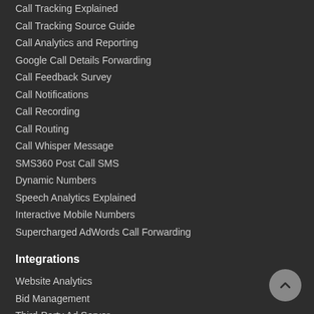Call Tracking Explained
Call Tracking Source Guide
Call Analytics and Reporting
Google Call Details Forwarding
Call Feedback Survey
Call Notifications
Call Recording
Call Routing
Call Whisper Message
SMS360 Post Call SMS
Dynamic Numbers
Speech Analytics Explained
Interactive Mobile Numbers
Supercharged AdWords Call Forwarding
Integrations
Website Analytics
Bid Management
Third-Party Ad Server
Affiliate Marketing Platform